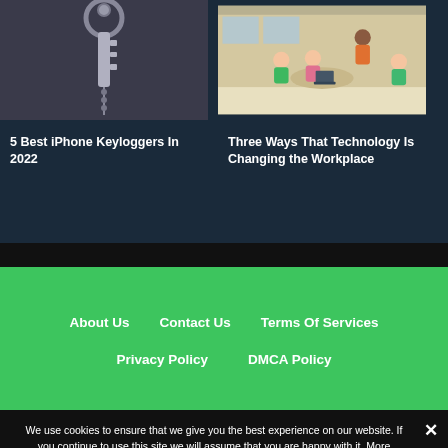[Figure (photo): Close-up photo of keys hanging on a hook against a dark background]
[Figure (illustration): Colorful illustration of people working in a modern open office/co-working space]
5 Best iPhone Keyloggers In 2022
Three Ways That Technology Is Changing the Workplace
About Us
Contact Us
Terms Of Services
Privacy Policy
DMCA Policy
We use cookies to ensure that we give you the best experience on our website. If you continue to use this site we will assume that you are happy with it. More information here.
OK